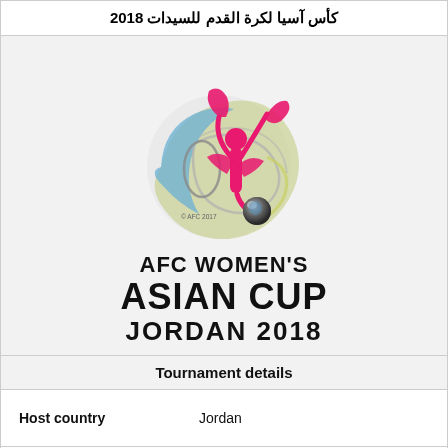كأس آسيا لكرة القدم للسيدات 2018
[Figure (logo): AFC Women's Asian Cup Jordan 2018 official logo featuring a pink female footballer figure kicking a ball over a spherical globe design with blue and green elements. Text reads: AFC WOMEN'S ASIAN CUP JORDAN 2018. © AFC 2017]
Tournament details
| Host country | Jordan |
| City |  |